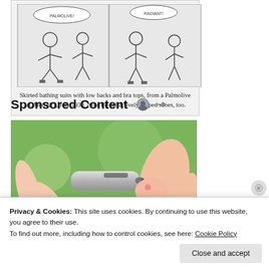[Figure (illustration): Comic-style illustration from a Palmolive ad showing women in skirted bathing suits with low backs and bra tops, from McCall's July 1938.]
Skirted bathing suits with low backs and bra tops, from a Palmolive ad, McCall's, July 1938. Note the attractively striped shoes, too.
Sponsored Content
[Figure (photo): Close-up photo of hands holding a small silver tube or device, pricking a finger, with a green blurred background.]
Privacy & Cookies: This site uses cookies. By continuing to use this website, you agree to their use. To find out more, including how to control cookies, see here: Cookie Policy